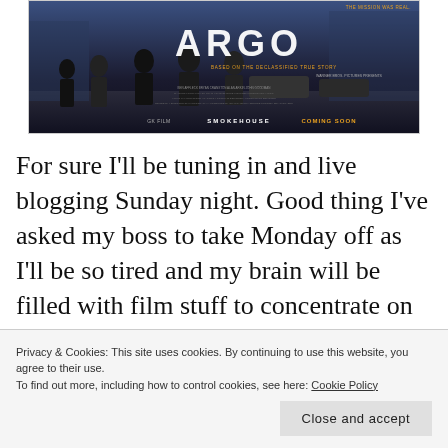[Figure (photo): Argo movie poster showing silhouetted figures walking, with the title ARGO in large white letters, tagline 'Based on the Declassified True Story', credits, and 'Coming Soon' text at the bottom.]
For sure I'll be tuning in and live blogging Sunday night. Good thing I've asked my boss to take Monday off as I'll be so tired and my brain will be filled with film stuff to concentrate on
Privacy & Cookies: This site uses cookies. By continuing to use this website, you agree to their use.
To find out more, including how to control cookies, see here: Cookie Policy
Close and accept